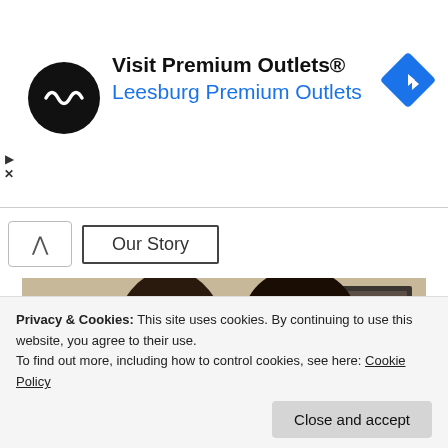[Figure (screenshot): Advertisement banner for Visit Premium Outlets / Leesburg Premium Outlets with circular black logo, navigation arrow icon, and play/close controls]
Our Story
[Figure (photo): Photo of a smiling couple (woman with dark curly hair, man in plaid shirt) with a framed artwork in the background]
Privacy & Cookies: This site uses cookies. By continuing to use this website, you agree to their use.
To find out more, including how to control cookies, see here: Cookie Policy
Close and accept